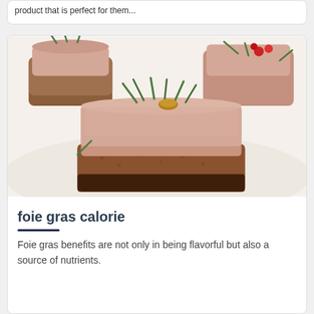product that is perfect for them...
[Figure (photo): Foie gras pâté slices on toasted bread, garnished with chives and red berries on a white plate]
foie gras calorie
Foie gras benefits are not only in being flavorful but also a source of nutrients.